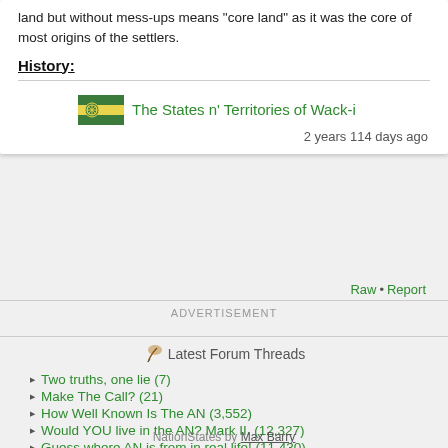land  but without mess-ups means  core land  as it was the core of most origins of the settlers.
History:
The States n' Territories of Wack-i
2 years 114 days ago
Raw • Report
ADVERTISEMENT
Latest Forum Threads
Two truths, one lie (7)
Make The Call? (21)
How Well Known Is The AN (3,552)
Would YOU live in the AN? Mark II. (12,327)
Guess where AN is from in real life! (11,430)
NationStates by Max Barry